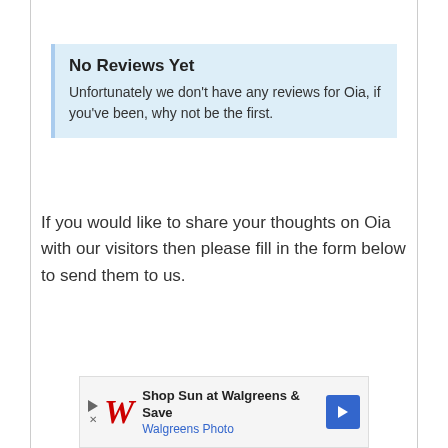No Reviews Yet
Unfortunately we don't have any reviews for Oia, if you've been, why not be the first.
If you would like to share your thoughts on Oia with our visitors then please fill in the form below to send them to us.
[Figure (other): Advertisement banner for Walgreens Photo: 'Shop Sun at Walgreens & Save' with Walgreens cursive logo, blue navigation arrow icon, play button and close button icons.]